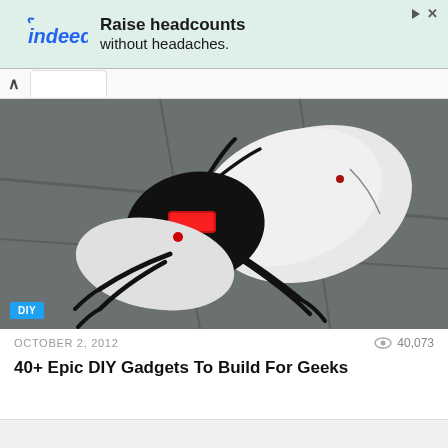[Figure (screenshot): Indeed advertisement banner with teal/mint background. Indeed logo on left in blue italic text with arc, text reads 'Raise headcounts without headaches.' in bold on right. Play and X icons top right.]
[Figure (photo): A robot insect toy resembling a cockroach or beetle made from a white computer mouse shell with black mechanical legs and red glowing lights, photographed on a concrete surface from above.]
OCTOBER 2, 2012
40,073
40+ Epic DIY Gadgets To Build For Geeks